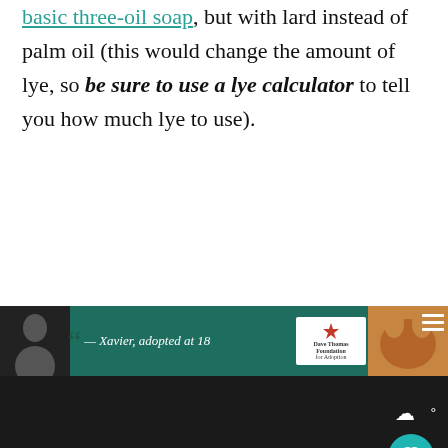basic three-oil soap, but with lard instead of palm oil (this would change the amount of lye, so be sure to use a lye calculator to tell you how much lye to use).
Please don't try making your first batch of soap with a single ingredient; I've had so many people tell me they've tried olive o... castile soap first and it was a total
[Figure (screenshot): What's Next widget showing 'Making Soap with Goat...' with thumbnail image, and social share/heart buttons]
[Figure (screenshot): Bottom advertisement bar: Dave Thomas Foundation for Adoption with Xavier adopted at 18 quote, teal background with person photo and dog image]
[Figure (screenshot): Dark bottom navigation bar]